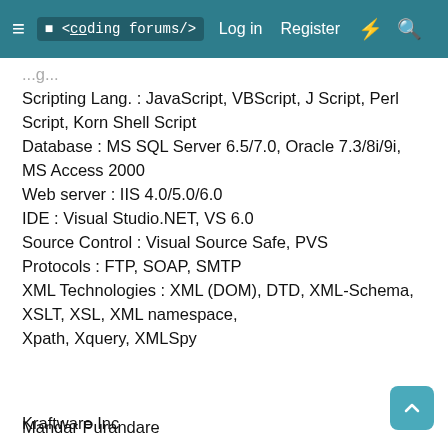≡  <coding forums/>   Log in   Register   ⚡   🔍
...g...
Scripting Lang. : JavaScript, VBScript, J Script, Perl Script, Korn Shell Script
Database : MS SQL Server 6.5/7.0, Oracle 7.3/8i/9i, MS Access 2000
Web server : IIS 4.0/5.0/6.0
IDE : Visual Studio.NET, VS 6.0
Source Control : Visual Source Safe, PVS
Protocols : FTP, SOAP, SMTP
XML Technologies : XML (DOM), DTD, XML-Schema, XSLT, XSL, XML namespace, Xpath, Xquery, XMLSpy
Kraftware Inc
Excellence in Technology Solutions
Mandar Purandare